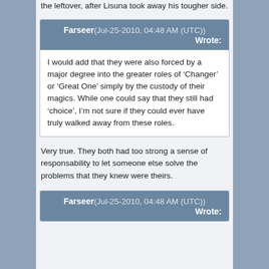the leftover, after Lisuna took away his tougher side.
Farseer(Jul-25-2010, 04:48 AM (UTC)) Wrote:
I would add that they were also forced by a major degree into the greater roles of ‘Changer’ or ‘Great One’ simply by the custody of their magics. While one could say that they still had ‘choice’, I’m not sure if they could ever have truly walked away from these roles.
Very true. They both had too strong a sense of responsability to let someone else solve the problems that they knew were theirs.
Farseer(Jul-25-2010, 04:48 AM (UTC)) Wrote: